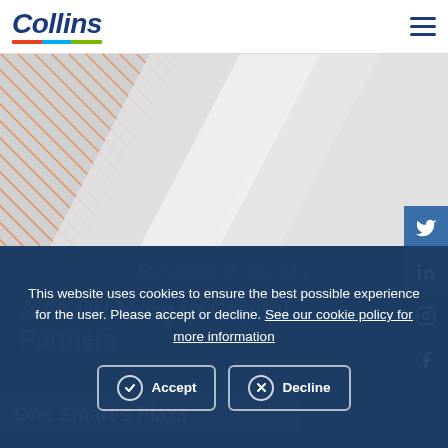[Figure (logo): Collins company logo with italic bold text and tri-color underline (orange, blue, green)]
[Figure (illustration): Website navigation hamburger menu icon (three horizontal lines)]
[Figure (photo): Banner/hero image area with diagonal striped orange pattern on left and gray diagonal panels]
[Figure (illustration): Social media sidebar icons: Twitter, LinkedIn, Instagram, Facebook on dark blue background]
Related Projects
AXA IM/ Morgan Capital Partners
One Smart's Plaza
This website uses cookies to ensure the best possible experience for the user. Please accept or decline. See our cookie policy for more information
Accept
Decline